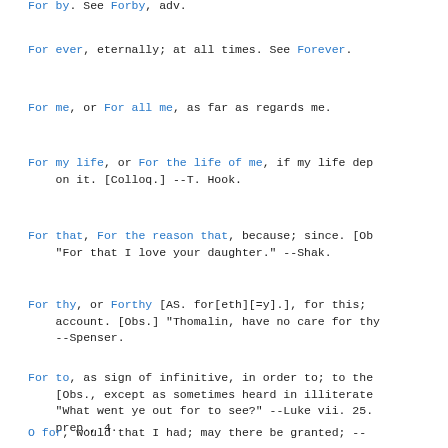For by. See Forby, adv.
For ever, eternally; at all times. See Forever.
For me, or For all me, as far as regards me.
For my life, or For the life of me, if my life dep on it. [Colloq.] --T. Hook.
For that, For the reason that, because; since. [Ob "For that I love your daughter." --Shak.
For thy, or Forthy [AS. for[eth][=y].], for this; account. [Obs.] "Thomalin, have no care for thy --Spenser.
For to, as sign of infinitive, in order to; to the [Obs., except as sometimes heard in illiterate "What went ye out for to see?" --Luke vii. 25. prep., 4.
O for, would that I had; may there be granted; --